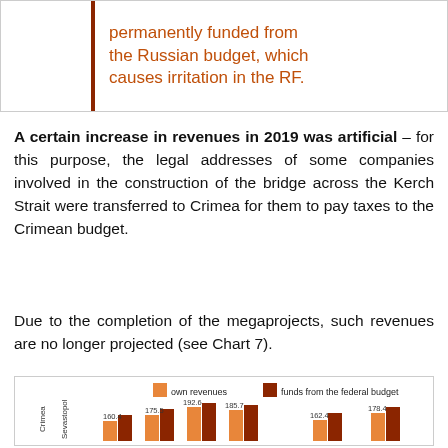permanently funded from the Russian budget, which causes irritation in the RF.
A certain increase in revenues in 2019 was artificial – for this purpose, the legal addresses of some companies involved in the construction of the bridge across the Kerch Strait were transferred to Crimea for them to pay taxes to the Crimean budget.
Due to the completion of the megaprojects, such revenues are no longer projected (see Chart 7).
[Figure (grouped-bar-chart): Grouped bar chart showing own revenues and funds from federal budget for Crimea and Sevastopol, with values 160.4, 175.5, 192.6, 185.7, 162.4, 178.4 visible]